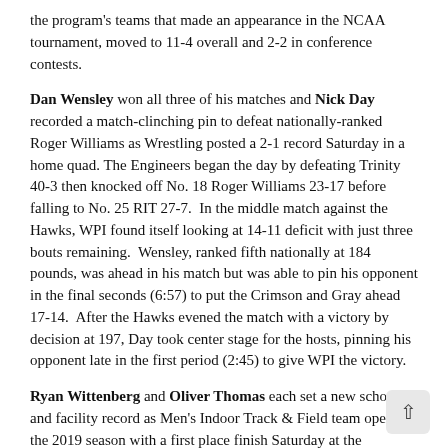the program's teams that made an appearance in the NCAA tournament, moved to 11-4 overall and 2-2 in conference contests.
Dan Wensley won all three of his matches and Nick Day recorded a match-clinching pin to defeat nationally-ranked Roger Williams as Wrestling posted a 2-1 record Saturday in a home quad. The Engineers began the day by defeating Trinity 40-3 then knocked off No. 18 Roger Williams 23-17 before falling to No. 25 RIT 27-7. In the middle match against the Hawks, WPI found itself looking at 14-11 deficit with just three bouts remaining. Wensley, ranked fifth nationally at 184 pounds, was ahead in his match but was able to pin his opponent in the final seconds (6:57) to put the Crimson and Gray ahead 17-14. After the Hawks evened the match with a victory by decision at 197, Day took center stage for the hosts, pinning his opponent late in the first period (2:45) to give WPI the victory.
Ryan Wittenberg and Oliver Thomas each set a new school and facility record as Men's Indoor Track & Field team opened the 2019 season with a first place finish Saturday at the Bowdoin Invitational. The Engineers, who entered the meet ranked 41st in the USTFCCCA NCAA Division III preseason national rating index, accumulated 216 points while the hosts were second with 148. Carley